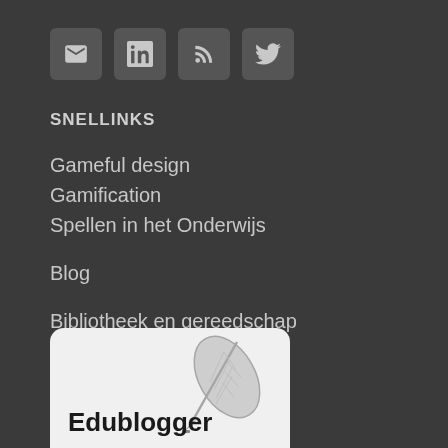[Figure (illustration): Four social media icon buttons: email, LinkedIn, RSS feed, Twitter — grey rounded square buttons with white icons]
SNELLINKS
Gameful design
Gamification
Spellen in het Onderwijs
Blog
Bibliotheek en gereedschap
Over Drakenvlieg
[Figure (logo): Edublogger logo — white rounded rectangle with a feather quill illustration and bold text 'Edublogger']